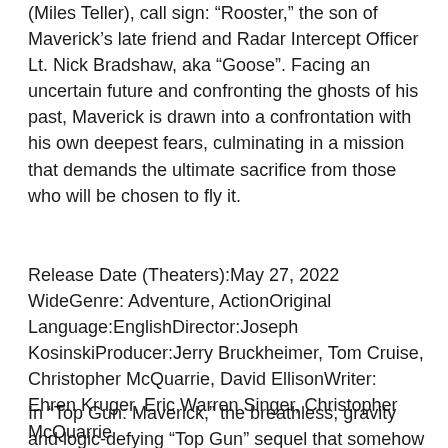(Miles Teller), call sign: "Rooster," the son of Maverick's late friend and Radar Intercept Officer Lt. Nick Bradshaw, aka "Goose". Facing an uncertain future and confronting the ghosts of his past, Maverick is drawn into a confrontation with his own deepest fears, culminating in a mission that demands the ultimate sacrifice from those who will be chosen to fly it.
Release Date (Theaters):May 27, 2022 WideGenre: Adventure, ActionOriginal Language:EnglishDirector:Joseph KosinskiProducer:Jerry Bruckheimer, Tom Cruise, Christopher McQuarrie, David EllisonWriter: Ehren Kruger, Eric Warren Singer, Christopher McQuarrie
In “Top Gun: Maverick,” the breathless, gravity and logic-defying “Top Gun” sequel that somehow makes all the sense in the world despite landing more than three